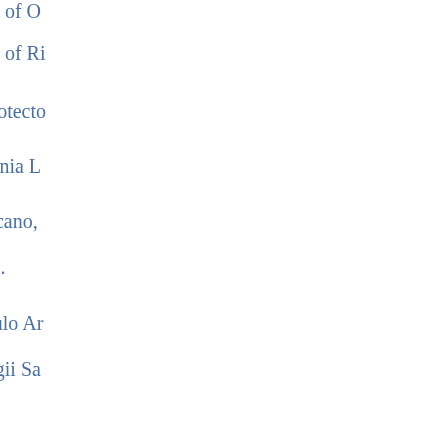Letters written in the Name of O…
Letters written in the Name of R…
A Manifesto of the Lord Protecto…
Johannis Miltoni Opera omnia L…
Defensio pro Populo Anglicano,…
masii Defensionem regiam .
Defensio Secunda pro Populo Ar…
anonymum cui titulus, "Regii Sa…
sus Parricidas Anglicanos
Authoris pro se Defensio contra…
Libelli famosi, cui titulus, "Regii…
versus Parricidas Anglicanos," A…
Authoris ad Alexandri Mori Supp…
Joannis Philippi Angli Resp…
Tenebrionis pro Rege & Po…
Litera Senatus Anglicani no…
Literæ Oliverii Protectoris n…
Literæ Richardi Protectoris…
Literæ Parlamenti Restituti…